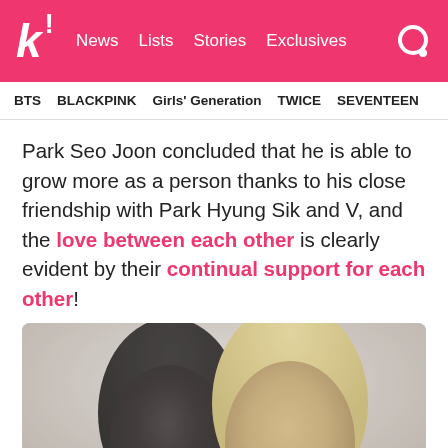k! News Lists Stories Exclusives
BTS   BLACKPINK   Girls' Generation   TWICE   SEVENTEEN
Park Seo Joon concluded that he is able to grow more as a person thanks to his close friendship with Park Hyung Sik and V, and the love between each other is clearly evident by their continual support for each other!
[Figure (photo): Two male K-pop celebrities posing together for a selfie photo, one with dark hair and one with blonde hair]